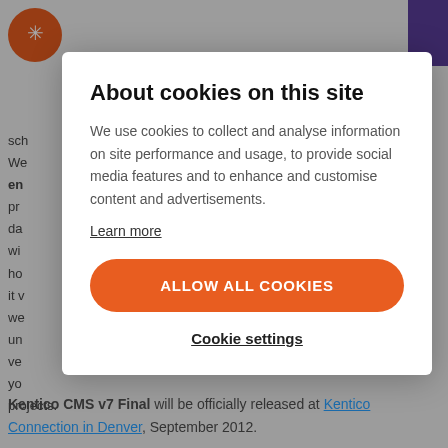[Figure (screenshot): Website background content partially visible behind modal overlay, including orange logo circle at top-left, purple button at top-right, and partial text content]
About cookies on this site
We use cookies to collect and analyse information on site performance and usage, to provide social media features and to enhance and customise content and advertisements.
Learn more
ALLOW ALL COOKIES
Cookie settings
Kentico CMS v7 Final will be officially released at Kentico Connection in Denver, September 2012.